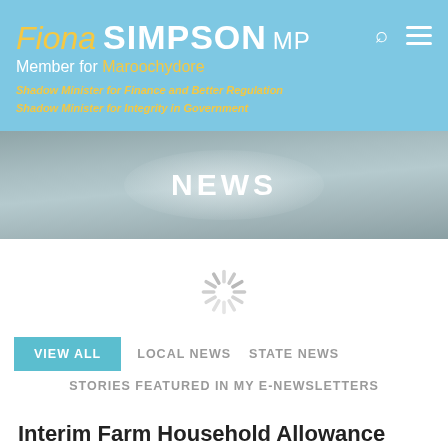Fiona SIMPSON MP – Member for Maroochydore – Shadow Minister for Finance and Better Regulation – Shadow Minister for Integrity in Government
NEWS
[Figure (other): Loading spinner icon (grey radial lines indicating content is loading)]
VIEW ALL   LOCAL NEWS   STATE NEWS   STORIES FEATURED IN MY E-NEWSLETTERS
Interim Farm Household Allowance now available